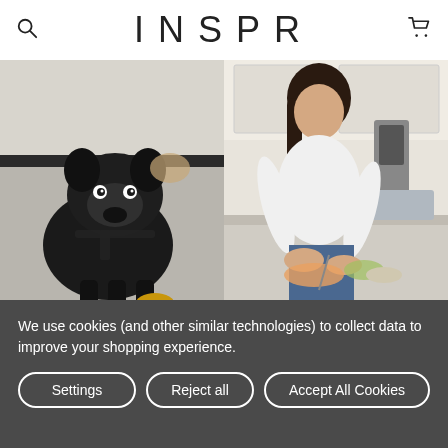INSPR
[Figure (photo): A black French Bulldog wearing a harness, standing on a tiled floor with a toy nearby. Another dog is partially visible in the background.]
[Figure (photo): A young woman with dark hair wearing a white long-sleeve top and jeans, preparing food in a kitchen.]
Where do you see yourself in the next 10 years?
In 10 years I want to be living in my dream home with
We use cookies (and other similar technologies) to collect data to improve your shopping experience.